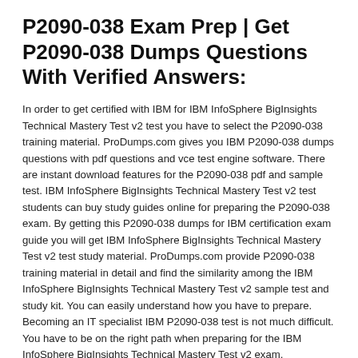P2090-038 Exam Prep | Get P2090-038 Dumps Questions With Verified Answers:
In order to get certified with IBM for IBM InfoSphere BigInsights Technical Mastery Test v2 test you have to select the P2090-038 training material. ProDumps.com gives you IBM P2090-038 dumps questions with pdf questions and vce test engine software. There are instant download features for the P2090-038 pdf and sample test. IBM InfoSphere BigInsights Technical Mastery Test v2 test students can buy study guides online for preparing the P2090-038 exam. By getting this P2090-038 dumps for IBM certification exam guide you will get IBM InfoSphere BigInsights Technical Mastery Test v2 test study material. ProDumps.com provide P2090-038 training material in detail and find the similarity among the IBM InfoSphere BigInsights Technical Mastery Test v2 sample test and study kit. You can easily understand how you have to prepare. Becoming an IT specialist IBM P2090-038 test is not much difficult. You have to be on the right path when preparing for the IBM InfoSphere BigInsights Technical Mastery Test v2 exam.